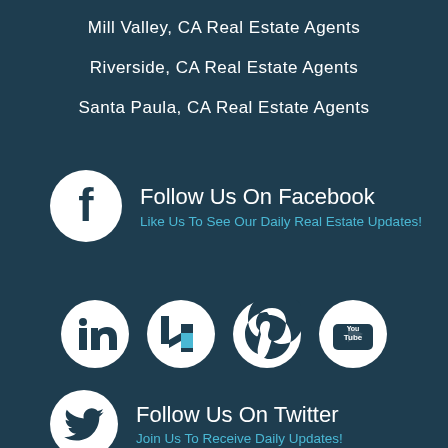Mill Valley, CA Real Estate Agents
Riverside, CA Real Estate Agents
Santa Paula, CA Real Estate Agents
Follow Us On Facebook
Like Us To See Our Daily Real Estate Updates!
[Figure (logo): Row of four social media icons: LinkedIn, Houzz, Pinterest, YouTube]
Follow Us On Twitter
Join Us To Receive Daily Updates!